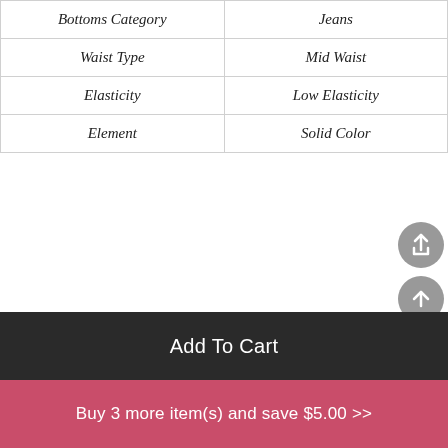| Bottoms Category | Jeans |
| Waist Type | Mid Waist |
| Elasticity | Low Elasticity |
| Element | Solid Color |
Add To Cart
Buy 3 more item(s) and save $5.00  >>